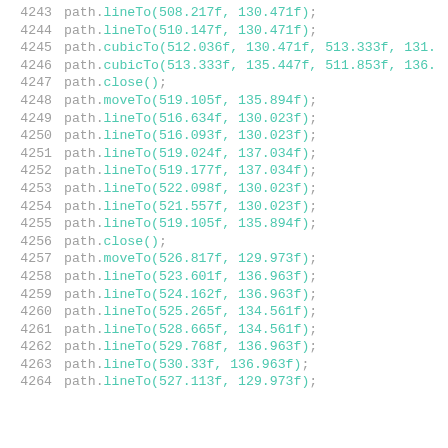4243    path.lineTo(508.217f, 130.471f);
4244    path.lineTo(510.147f, 130.471f);
4245    path.cubicTo(512.036f, 130.471f, 513.333f, 131.
4246    path.cubicTo(513.333f, 135.447f, 511.853f, 136.
4247    path.close();
4248    path.moveTo(519.105f, 135.894f);
4249    path.lineTo(516.634f, 130.023f);
4250    path.lineTo(516.093f, 130.023f);
4251    path.lineTo(519.024f, 137.034f);
4252    path.lineTo(519.177f, 137.034f);
4253    path.lineTo(522.098f, 130.023f);
4254    path.lineTo(521.557f, 130.023f);
4255    path.lineTo(519.105f, 135.894f);
4256    path.close();
4257    path.moveTo(526.817f, 129.973f);
4258    path.lineTo(523.601f, 136.963f);
4259    path.lineTo(524.162f, 136.963f);
4260    path.lineTo(525.265f, 134.561f);
4261    path.lineTo(528.665f, 134.561f);
4262    path.lineTo(529.768f, 136.963f);
4263    path.lineTo(530.33f, 136.963f);
4264    path.lineTo(527.113f, 129.973f);